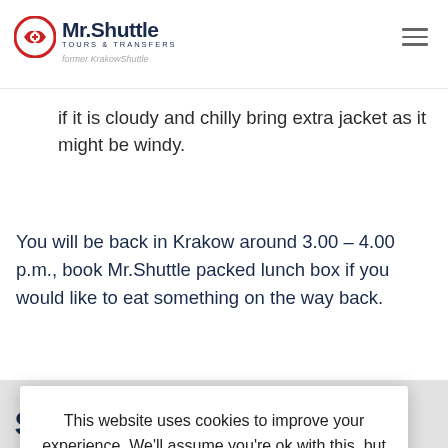Mr.Shuttle TOURS & TRANSFERS former KrakowShuttle
if it is cloudy and chilly bring extra jacket as it might be windy.
You will be back in Krakow around 3.00 – 4.00 p.m., book Mr.Shuttle packed lunch box if you would like to eat something on the way back.
schwitz
in Krakow, and Salt take one full places! In the morning, you will be picked up for visit in
This website uses cookies to improve your experience. We'll assume you're ok with this, but you can opt-out if you wish.